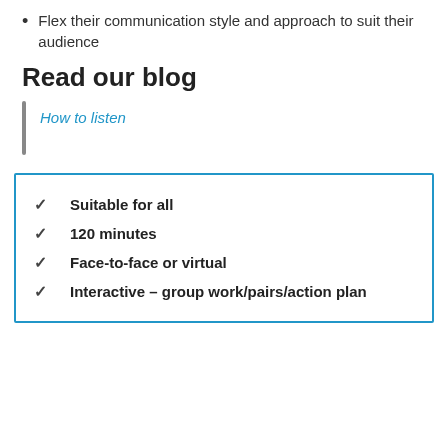Flex their communication style and approach to suit their audience
Read our blog
How to listen
Suitable for all
120 minutes
Face-to-face or virtual
Interactive – group work/pairs/action plan